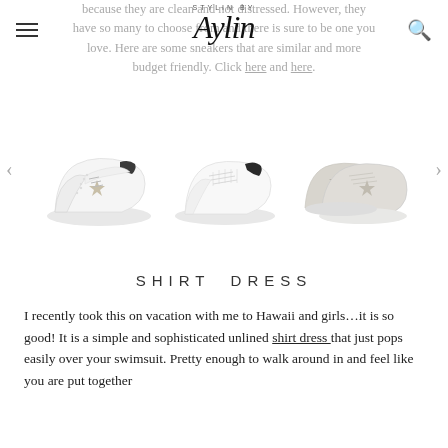STYLIN BY Aylin
because they are clean and not distressed. However, they have so many to choose from and there is sure to be one you love. Here are some sneakers that are similar and more budget friendly. Click here and here.
[Figure (photo): Carousel of three white sneakers: left - white leather sneaker with star detail and dark heel tab; center - white Adidas-style sneaker with dark heel tab; right - pair of silver/white sneakers with star detail]
SHIRT DRESS
I recently took this on vacation with me to Hawaii and girls...it is so good! It is a simple and sophisticated unlined shirt dress that just pops easily over your swimsuit. Pretty enough to walk around in and feel like you are put together